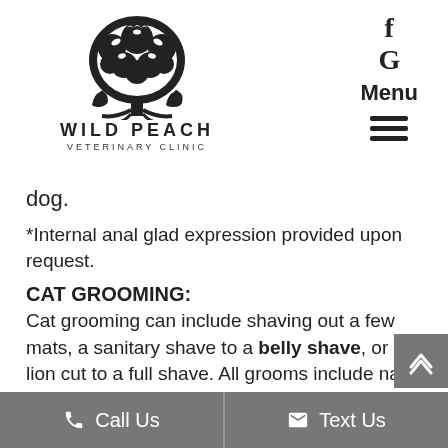[Figure (logo): Wild Peach Veterinary Clinic logo — black silhouette of a tree with birds and animals, with clinic name below]
f G Menu ☰
dog.
*Internal anal glad expression provided upon request.
CAT GROOMING:
Cat grooming can include shaving out a few mats, a sanitary shave to a belly shave, or a lion cut to a full shave. All grooms include nail trimming, bath, and blow dry. Some cats require sedation for this process. Tricia will discuss any issues prior to
Call Us   Text Us